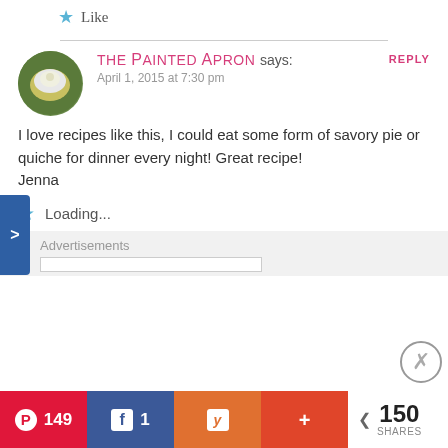Like
The Painted Apron says:
April 1, 2015 at 7:30 pm
REPLY
I love recipes like this, I could eat some form of savory pie or quiche for dinner every night! Great recipe!
Jenna
Loading...
Advertisements
149
1
150 SHARES